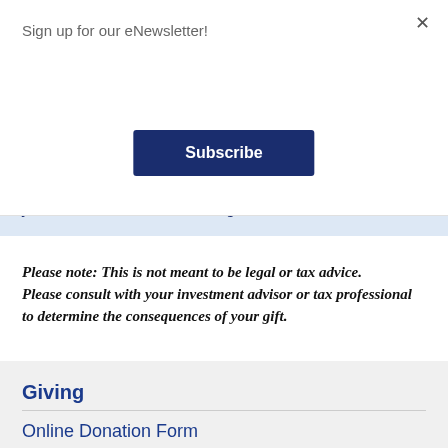Sign up for our eNewsletter!
Subscribe
9937 ext. 2116 or jchristensen@chbenevolent.org
Please note: This is not meant to be legal or tax advice.
Please consult with your investment advisor or tax professional to determine the consequences of your gift.
Giving
Online Donation Form